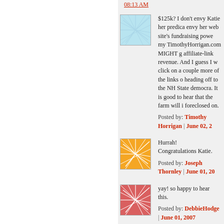08:13 AM
$125k? I don't envy Katie her predica... envy her web site's fundraising powe... my TimothyHorrigan.com MIGHT g... affiliate-link revenue. And I guess I w... click on a couple more of the links o... heading off to the NH State democra... It is good to hear that the farm will i... foreclosed on.
Posted by: Timothy Horrigan | June 02, ...
Hurrah!
Congratulations Katie.
Posted by: Joseph Thornley | June 01, 20...
yay! so happy to hear this.
Posted by: DebbieHodge | June 01, 2007...
The comments to this entry are closed.